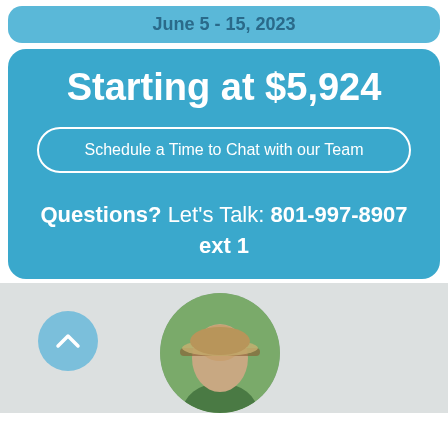June 5 - 15, 2023
Starting at $5,924
Schedule a Time to Chat with our Team
Questions? Let's Talk: 801-997-8907 ext 1
[Figure (photo): Circular photo of a man wearing a wide-brimmed hat outdoors, with trees in the background]
[Figure (illustration): Blue circle with white upward chevron arrow icon]